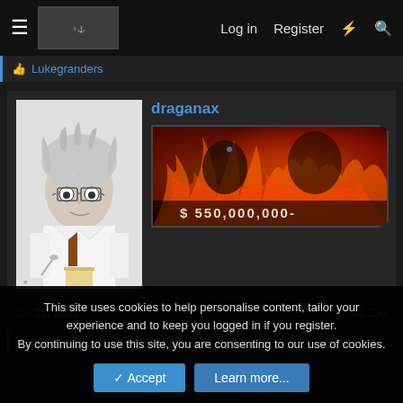Log in  Register
Lukegranders
draganax
[Figure (illustration): Manga-style character with white/grey hair, glasses, wearing a white shirt with brown tie, holding a spoon with a cup]
[Figure (illustration): Anime banner image with fiery orange/red background showing characters in flames, text overlay: $ 550,000,000-]
Jul 21, 2021
#2,256
The Strawhats Bible said:
This site uses cookies to help personalise content, tailor your experience and to keep you logged in if you register.
By continuing to use this site, you are consenting to our use of cookies.
Accept
Learn more...